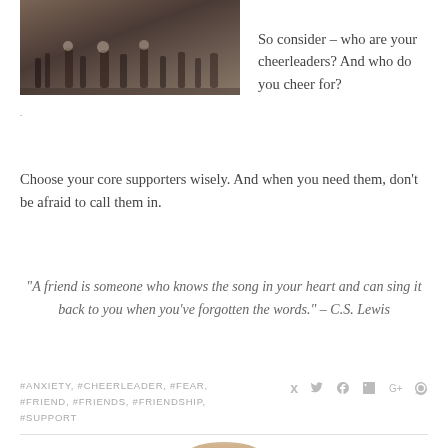[Figure (photo): A group of cheerleaders performing on a field, vintage-style photo]
So consider – who are your cheerleaders? And who do you cheer for?
Choose your core supporters wisely. And when you need them, don't be afraid to call them in.
“A friend is someone who knows the song in your heart and can sing it back to you when you’ve forgotten the words.” – C.S. Lewis
#ANXIETY, #CHEERLEADER, #FEAR, #FRIEND, #FRIENDS, #FRIENDSHIP, #SUPPORT
[Figure (photo): Circular author portrait photo of a woman with blonde hair wearing a hat]